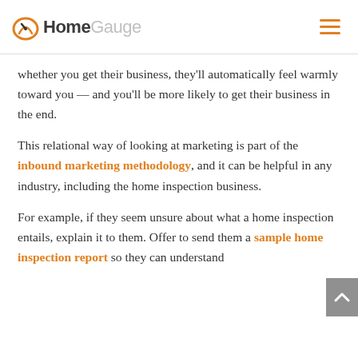HomeGauge
whether you get their business, they'll automatically feel warmly toward you — and you'll be more likely to get their business in the end.
This relational way of looking at marketing is part of the inbound marketing methodology, and it can be helpful in any industry, including the home inspection business.
For example, if they seem unsure about what a home inspection entails, explain it to them. Offer to send them a sample home inspection report so they can understand